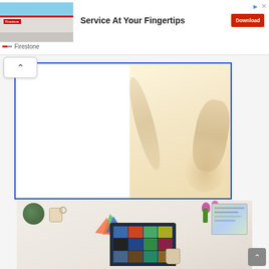[Figure (screenshot): Firestone advertisement banner: store photo on left, 'Service At Your Fingertips' headline in center, red 'Download' button on right, Firestone brand logo at bottom left]
[Figure (screenshot): Scroll-up chevron button (^) in a white rounded box at top-left of content area]
[Figure (screenshot): Document preview box with blue border: left half white, right half warm beige/cream with hand shadow silhouette]
[Figure (photo): Overhead desk photo showing laptop with colorful app grid on screen, plant, coffee cup, pink flowers, colorful arrow graphic, notebook with map/colorful illustrations, on white desk surface]